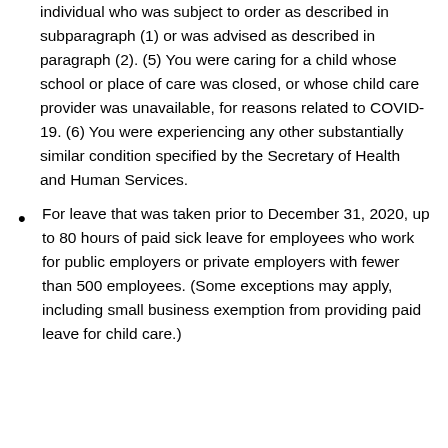individual who was subject to order as described in subparagraph (1) or was advised as described in paragraph (2). (5) You were caring for a child whose school or place of care was closed, or whose child care provider was unavailable, for reasons related to COVID-19. (6) You were experiencing any other substantially similar condition specified by the Secretary of Health and Human Services.
For leave that was taken prior to December 31, 2020, up to 80 hours of paid sick leave for employees who work for public employers or private employers with fewer than 500 employees. (Some exceptions may apply, including small business exemption from providing paid leave for child care.)